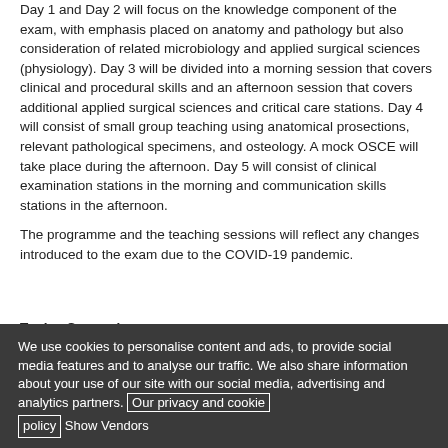Day 1 and Day 2 will focus on the knowledge component of the exam, with emphasis placed on anatomy and pathology but also consideration of related microbiology and applied surgical sciences (physiology). Day 3 will be divided into a morning session that covers clinical and procedural skills and an afternoon session that covers additional applied surgical sciences and critical care stations. Day 4 will consist of small group teaching using anatomical prosections, relevant pathological specimens, and osteology. A mock OSCE will take place during the afternoon. Day 5 will consist of clinical examination stations in the morning and communication skills stations in the afternoon.
The programme and the teaching sessions will reflect any changes introduced to the exam due to the COVID-19 pandemic.
Topics Covered:
We use cookies to personalise content and ads, to provide social media features and to analyse our traffic. We also share information about your use of our site with our social media, advertising and analytics partners. Our privacy and cookie policy Show Vendors